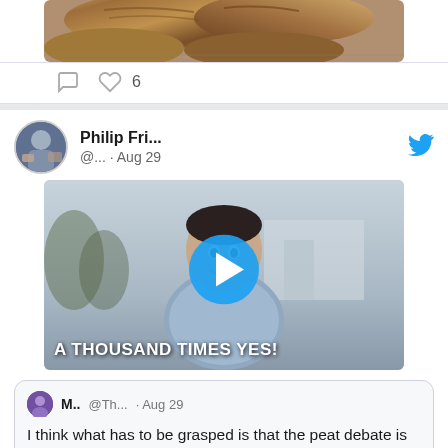[Figure (photo): Partial view of bread loaves image at top of tweet card]
[Figure (infographic): Social media action icons: comment bubble, heart with count 6]
[Figure (screenshot): Twitter tweet by Philip Fri... (@... Aug 29) with a video thumbnail showing a man with text 'A THOUSAND TIMES YES!' and a play button, followed by a quoted tweet from M.. @Th... Aug 29 saying: I think what has to be grasped is that the peat debate is not about you ( or me) but about what is best for us as a ...]